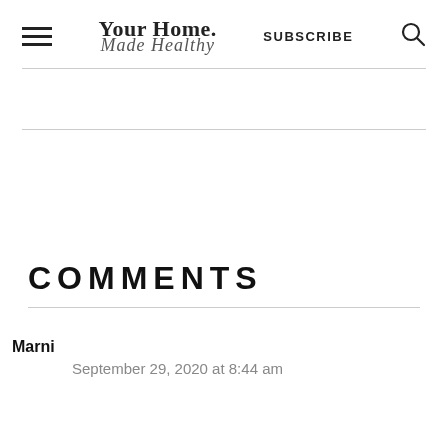Your Home. Made Healthy | SUBSCRIBE
COMMENTS
Marni
September 29, 2020 at 8:44 am